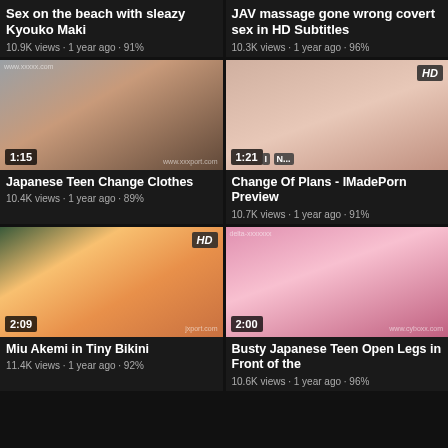Sex on the beach with sleazy Kyouko Maki
10.9K views · 1 year ago · 91%
JAV massage gone wrong covert sex in HD Subtitles
10.3K views · 1 year ago · 96%
[Figure (photo): Video thumbnail with duration 1:15]
Japanese Teen Change Clothes
10.4K views · 1 year ago · 89%
[Figure (photo): Video thumbnail HD badge, duration 1:21]
Change Of Plans - IMadePorn Preview
10.7K views · 1 year ago · 91%
[Figure (photo): Video thumbnail HD badge, duration 2:09]
Miu Akemi in Tiny Bikini
11.4K views · 1 year ago · 92%
[Figure (photo): Video thumbnail, duration 2:00]
Busty Japanese Teen Open Legs in Front of the
10.6K views · 1 year ago · 96%